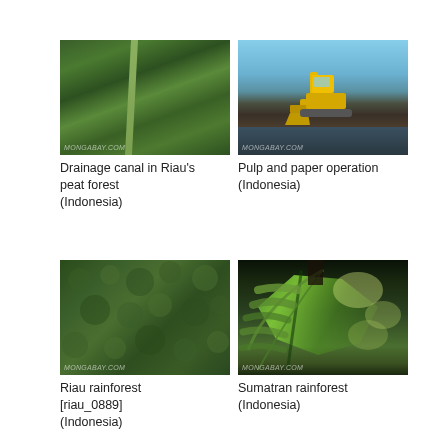[Figure (photo): Aerial view of drainage canal cutting through Riau's peat forest, Indonesia]
Drainage canal in Riau's peat forest (Indonesia)
[Figure (photo): Excavator operating at a pulp and paper site on a river in Indonesia]
Pulp and paper operation (Indonesia)
[Figure (photo): Aerial view of Riau rainforest [riau_0889], Indonesia]
Riau rainforest [riau_0889] (Indonesia)
[Figure (photo): Close-up of large tropical leaves in Sumatran rainforest, Indonesia]
Sumatran rainforest (Indonesia)